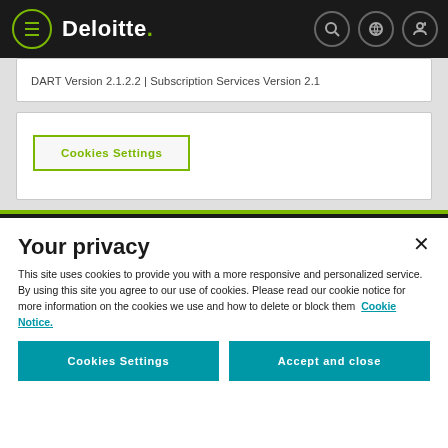Deloitte. [navigation header with menu, search, login, and globe icons]
DART Version 2.1.2.2 | Subscription Services Version 2.1
Cookies Settings
Your privacy
This site uses cookies to provide you with a more responsive and personalized service. By using this site you agree to our use of cookies. Please read our cookie notice for more information on the cookies we use and how to delete or block them Cookie Notice.
Cookies Settings
Accept and close